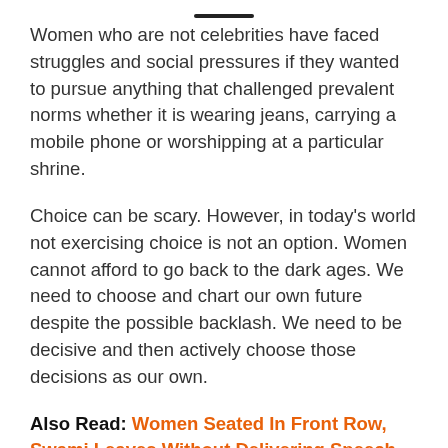Women who are not celebrities have faced struggles and social pressures if they wanted to pursue anything that challenged prevalent norms whether it is wearing jeans, carrying a mobile phone or worshipping at a particular shrine.
Choice can be scary. However, in today’s world not exercising choice is not an option. Women cannot afford to go back to the dark ages. We need to choose and chart our own future despite the possible backlash. We need to be decisive and then actively choose those decisions as our own.
Also Read: Women Seated In Front Row, Swami Leaves Without Delivering Speech